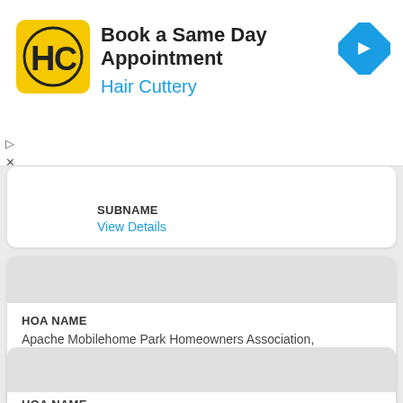[Figure (screenshot): Hair Cuttery advertisement banner with yellow logo showing HC letters, title 'Book a Same Day Appointment', subtitle 'Hair Cuttery' in blue, and a blue diamond navigation arrow icon on the right.]
▷
✕
SUBNAME
View Details
HOA NAME
Apache Mobilehome Park Homeowners Association, Yucca Valley CA
SUBNAME
View Details
HOA NAME